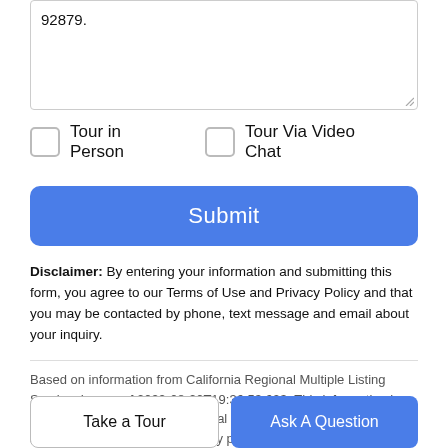92879.
Tour in Person
Tour Via Video Chat
Submit
Disclaimer: By entering your information and submitting this form, you agree to our Terms of Use and Privacy Policy and that you may be contacted by phone, text message and email about your inquiry.
Based on information from California Regional Multiple Listing Service, Inc. as of 2022-08-20T19:36:53.623. This information is for your personal, non-commercial use and may not be used for any purpose other than to identify prospective properties you may be interested in purchasing.
Take a Tour
Ask A Question